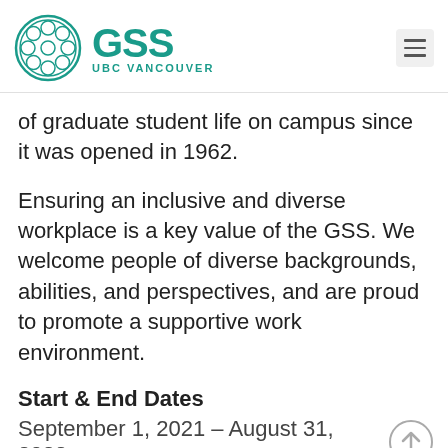GSS UBC Vancouver
of graduate student life on campus since it was opened in 1962.
Ensuring an inclusive and diverse workplace is a key value of the GSS. We welcome people of diverse backgrounds, abilities, and perspectives, and are proud to promote a supportive work environment.
Start & End Dates
September 1, 2021 – August 31, 2022